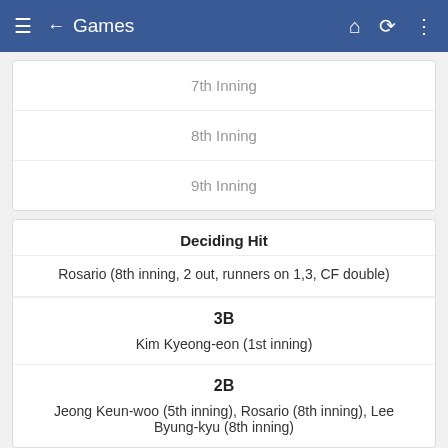≡ ← Games
7th Inning
8th Inning
9th Inning
Deciding Hit
Rosario (8th inning, 2 out, runners on 1,3, CF double)
3B
Kim Kyeong-eon (1st inning)
2B
Jeong Keun-woo (5th inning), Rosario (8th inning), Lee Byung-kyu (8th inning)